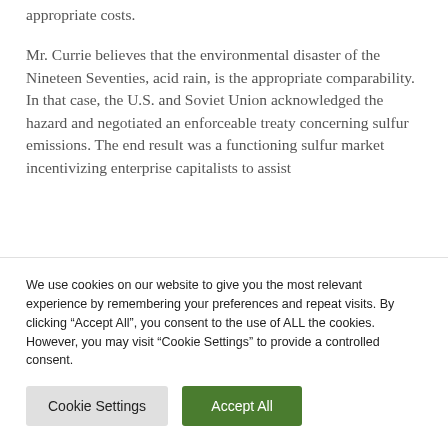appropriate costs.
Mr. Currie believes that the environmental disaster of the Nineteen Seventies, acid rain, is the appropriate comparability. In that case, the U.S. and Soviet Union acknowledged the hazard and negotiated an enforceable treaty concerning sulfur emissions. The end result was a functioning sulfur market incentivizing enterprise capitalists to assist
We use cookies on our website to give you the most relevant experience by remembering your preferences and repeat visits. By clicking “Accept All”, you consent to the use of ALL the cookies. However, you may visit “Cookie Settings” to provide a controlled consent.